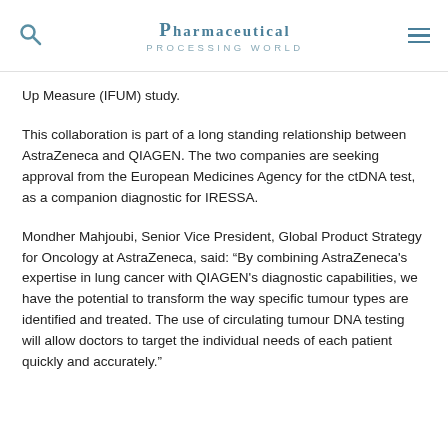PHARMACEUTICAL PROCESSING WORLD
Up Measure (IFUM) study.
This collaboration is part of a long standing relationship between AstraZeneca and QIAGEN. The two companies are seeking approval from the European Medicines Agency for the ctDNA test, as a companion diagnostic for IRESSA.
Mondher Mahjoubi, Senior Vice President, Global Product Strategy for Oncology at AstraZeneca, said: “By combining AstraZeneca's expertise in lung cancer with QIAGEN's diagnostic capabilities, we have the potential to transform the way specific tumour types are identified and treated. The use of circulating tumour DNA testing will allow doctors to target the individual needs of each patient quickly and accurately.”